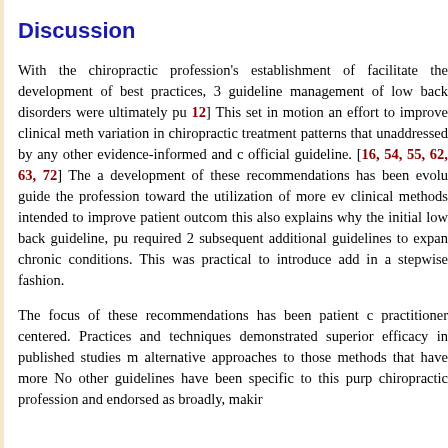Discussion
With the chiropractic profession's establishment of facilitate the development of best practices, 3 guidelines management of low back disorders were ultimately pu [10, 11, 12] This set in motion an effort to improve clinical meth variation in chiropractic treatment patterns that unaddressed by any other evidence-informed and official guideline. [16, 54, 55, 62, 63, 72] The a development of these recommendations has been evolu guide the profession toward the utilization of more ev clinical methods intended to improve patient outcom this also explains why the initial low back guideline, pu required 2 subsequent additional guidelines to expan chronic conditions. This was practical to introduce add in a stepwise fashion.
The focus of these recommendations has been patient c practitioner centered. Practices and techniques demonstrated superior efficacy in published studies m alternative approaches to those methods that have more No other guidelines have been specific to this purp chiropractic profession and endorsed as broadly, makir